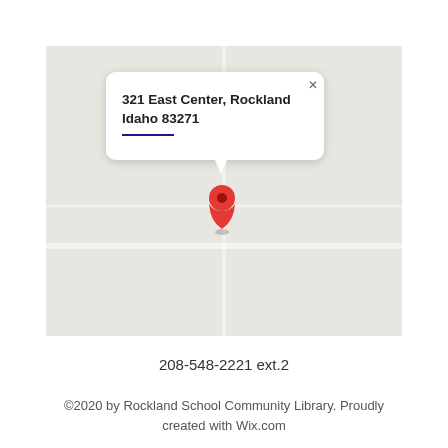[Figure (map): Google Maps embed showing a location pin at 321 East Center, Rockland, Idaho 83271 with a white tooltip popup displaying the address and a red map pin marker in the center of the map.]
208-548-2221 ext.2
©2020 by Rockland School Community Library. Proudly created with Wix.com